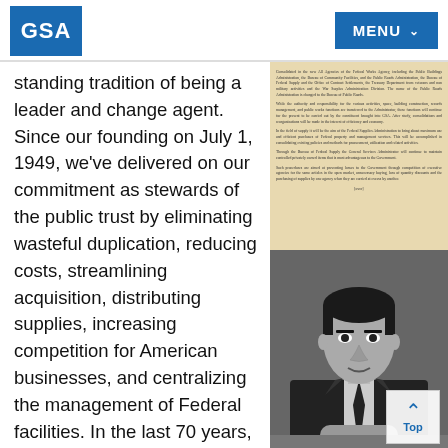GSA | MENU
standing tradition of being a leader and change agent. Since our founding on July 1, 1949, we've delivered on our commitment as stewards of the public trust by eliminating wasteful duplication, reducing costs, streamlining acquisition, distributing supplies, increasing competition for American businesses, and centralizing the management of Federal facilities. In the last 70 years, our
[Figure (photo): Scanned historical document with dense paragraphs of text on aged yellowish paper]
[Figure (photo): Black and white portrait photograph of a man in a suit with a tie, sitting at a desk with hands clasped]